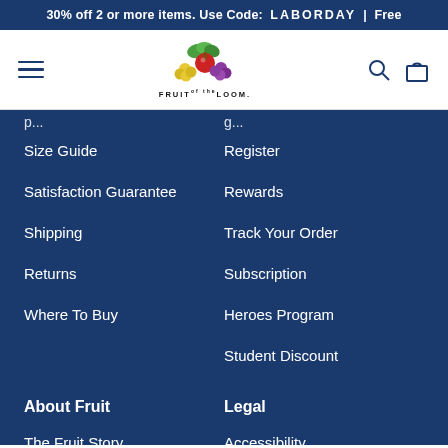30% off 2 or more items. Use Code: LABORDAY | Free
[Figure (logo): Fruit of the Loom logo with colorful fruit illustration and brand name text]
Size Guide
Register
Satisfaction Guarantee
Rewards
Shipping
Track Your Order
Returns
Subscription
Where To Buy
Heroes Program
Student Discount
About Fruit
Legal
The Fruit Story
Accessibility
Fruit B&B (partial)
STORE/W&SA Disp… (partial)